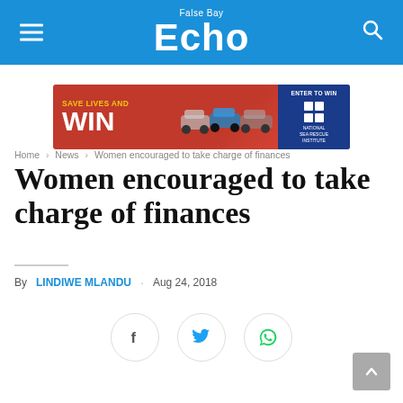False Bay Echo
[Figure (infographic): Advertisement banner: 'Save Lives and WIN' with cars and National Sea Rescue Institute enter to win button]
Home > News > Women encouraged to take charge of finances
Women encouraged to take charge of finances
By LINDIWE MLANDU · Aug 24, 2018
[Figure (infographic): Social share buttons: Facebook, Twitter, WhatsApp]